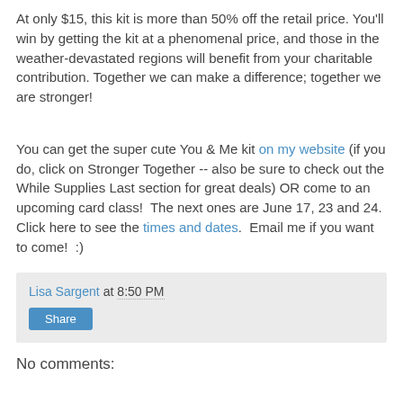At only $15, this kit is more than 50% off the retail price. You'll win by getting the kit at a phenomenal price, and those in the weather-devastated regions will benefit from your charitable contribution. Together we can make a difference; together we are stronger!
You can get the super cute You & Me kit on my website (if you do, click on Stronger Together -- also be sure to check out the While Supplies Last section for great deals) OR come to an upcoming card class!  The next ones are June 17, 23 and 24.  Click here to see the times and dates.  Email me if you want to come!  :)
Lisa Sargent at 8:50 PM
Share
No comments: